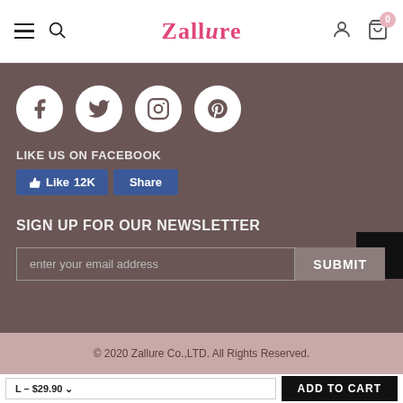Zallure navigation bar with hamburger, search, logo, user and cart icons
[Figure (screenshot): Social media icons: Facebook, Twitter, Instagram, Pinterest — white circles on dark brown background]
LIKE US ON FACEBOOK
[Figure (screenshot): Facebook Like 12K and Share buttons]
SIGN UP FOR OUR NEWSLETTER
[Figure (screenshot): Email newsletter input field with placeholder 'enter your email address' and SUBMIT button]
© 2020 Zallure Co.,LTD. All Rights Reserved.
[Figure (screenshot): Add to cart bar: L – $29.90 dropdown and ADD TO CART button]